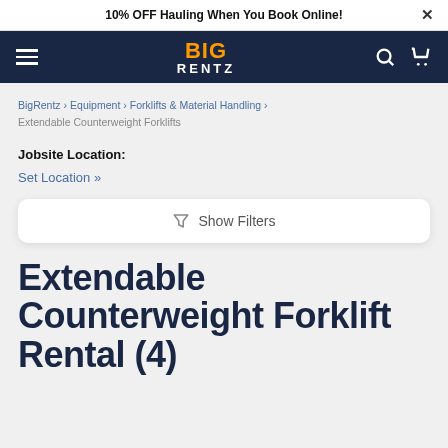10% OFF Hauling When You Book Online!
[Figure (logo): BigRentz logo with hamburger menu, search icon, and cart icon on dark navy navigation bar]
BigRentz › Equipment › Forklifts & Material Handling › Extendable Counterweight Forklifts
Jobsite Location:
Set Location »
Show Filters
Extendable Counterweight Forklift Rental (4)